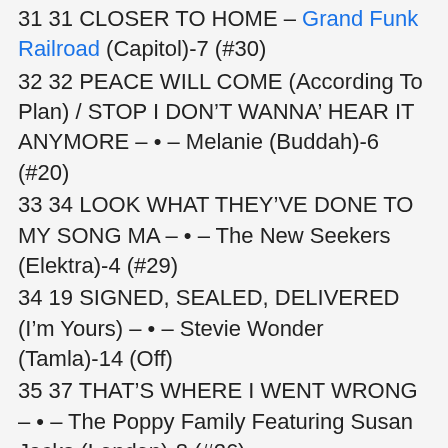31 31 CLOSER TO HOME – Grand Funk Railroad (Capitol)-7 (#30)
32 32 PEACE WILL COME (According To Plan) / STOP I DON'T WANNA' HEAR IT ANYMORE – • – Melanie (Buddah)-6 (#20)
33 34 LOOK WHAT THEY'VE DONE TO MY SONG MA – • – The New Seekers (Elektra)-4 (#29)
34 19 SIGNED, SEALED, DELIVERED (I'm Yours) – • – Stevie Wonder (Tamla)-14 (Off)
35 37 THAT'S WHERE I WENT WRONG – • – The Poppy Family Featuring Susan Jacks (London)-8 (#26)
36 21 HAND ME DOWN WORLD – • – The Guess Who (RCA)-11 (#32)
37 42 IT'S ONLY MAKE BELEIVE – • – Glen Campbell (Capitol)-4 (#32)